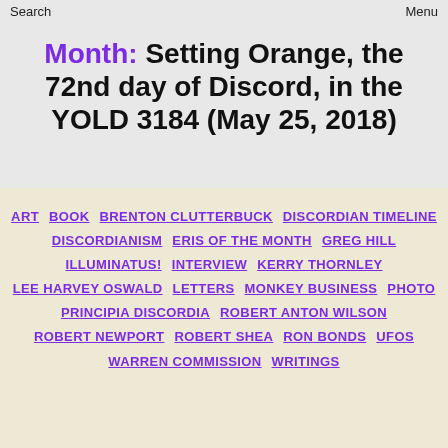Search | Historia Discordia | Menu
Month: Setting Orange, the 72nd day of Discord, in the YOLD 3184 (May 25, 2018)
ART
BOOK
BRENTON CLUTTERBUCK
DISCORDIAN TIMELINE
DISCORDIANISM
ERIS OF THE MONTH
GREG HILL
ILLUMINATUS!
INTERVIEW
KERRY THORNLEY
LEE HARVEY OSWALD
LETTERS
MONKEY BUSINESS
PHOTO
PRINCIPIA DISCORDIA
ROBERT ANTON WILSON
ROBERT NEWPORT
ROBERT SHEA
RON BONDS
UFOS
WARREN COMMISSION
WRITINGS